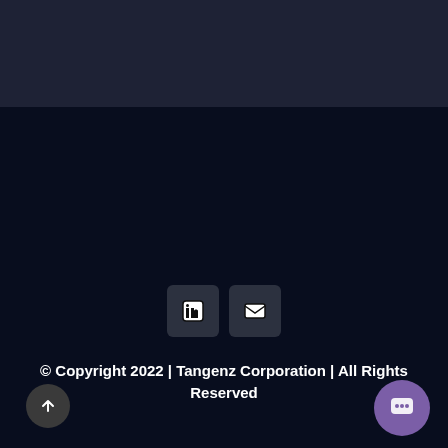[Figure (other): Dark navy header background area]
[Figure (other): Social media icon buttons: LinkedIn and Email, displayed as rounded square icons on dark navy background]
© Copyright 2022 | Tangenz Corporation | All Rights Reserved